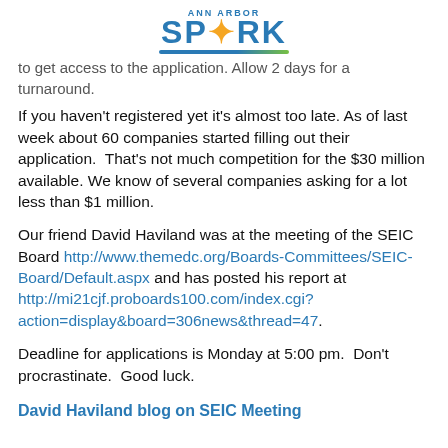ANN ARBOR SPARK
to get access to the application. Allow 2 days for a turnaround. If you haven't registered yet it's almost too late. As of last week about 60 companies started filling out their application.  That's not much competition for the $30 million available. We know of several companies asking for a lot less than $1 million.
Our friend David Haviland was at the meeting of the SEIC Board http://www.themedc.org/Boards-Committees/SEIC-Board/Default.aspx and has posted his report at http://mi21cjf.proboards100.com/index.cgi?action=display&board=306news&thread=47.
Deadline for applications is Monday at 5:00 pm.  Don't procrastinate.  Good luck.
David Haviland blog on SEIC Meeting